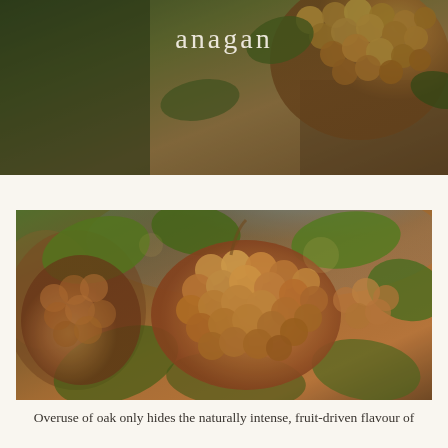anagan
[Figure (photo): Close-up photograph of clusters of ripe golden-orange grapes hanging on the vine with green leaves in the background, sunlit vineyard scene]
Overuse of oak only hides the naturally intense, fruit-driven flavour of